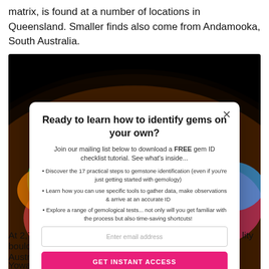matrix, is found at a number of locations in Queensland. Smaller finds also come from Andamooka, South Australia.
[Figure (photo): Close-up photo of a colorful boulder opal gemstone showing iridescent play of color (greens, reds, blues, yellows) against a black background]
At 2,756 c...lity boulder o... Australia...
Yowah nu...center, are found in Y...
Ready to learn how to identify gems on your own?
Join our mailing list below to download a FREE gem ID checklist tutorial. See what's inside...
Discover the 17 practical steps to gemstone identification (even if you're just getting started with gemology)
Learn how you can use specific tools to gather data, make observations & arrive at an accurate ID
Explore a range of gemological tests... not only will you get familiar with the process but also time-saving shortcuts!
Enter email address
GET INSTANT ACCESS